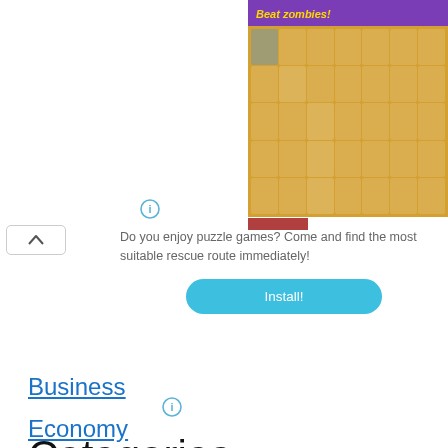[Figure (screenshot): Mobile game advertisement showing 'Beat zombies!' banner with purple header, yellow text, and a grid of zombie character icons on a sandy/desert background]
Do you enjoy puzzle games? Come and find the most suitable rescue route immediately!
Install!
Categories
Business
Economy
Entertainment
Interviews